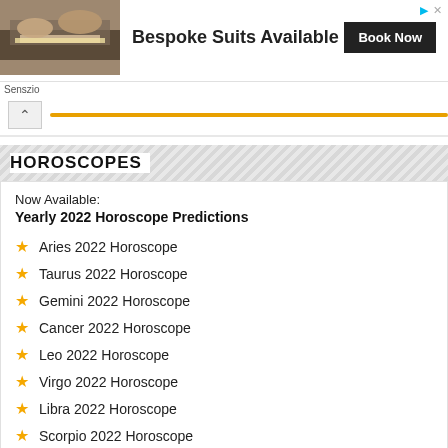[Figure (photo): Advertisement banner for Senszio bespoke suits. Shows a photo of hands measuring fabric, with text 'Bespoke Suits Available' and a 'Book Now' button. Labeled 'Senszio'.]
HOROSCOPES
Now Available:
Yearly 2022 Horoscope Predictions
Aries 2022 Horoscope
Taurus 2022 Horoscope
Gemini 2022 Horoscope
Cancer 2022 Horoscope
Leo 2022 Horoscope
Virgo 2022 Horoscope
Libra 2022 Horoscope
Scorpio 2022 Horoscope
Sagittarius 2022 Horoscope
Capricorn 2022 Horoscope